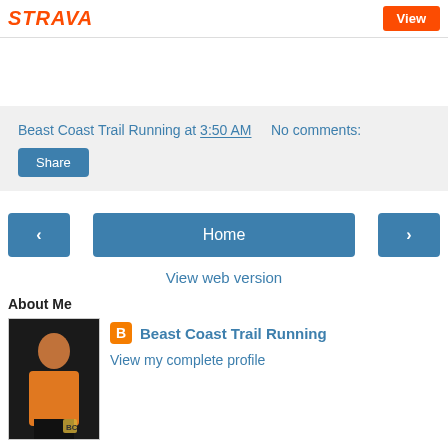STRAVA  View
Beast Coast Trail Running at 3:50 AM    No comments:
Share
‹  Home  ›
View web version
About Me
[Figure (photo): Profile photo of a person wearing an orange shirt against a dark background]
Beast Coast Trail Running
View my complete profile
Powered by Blogger.